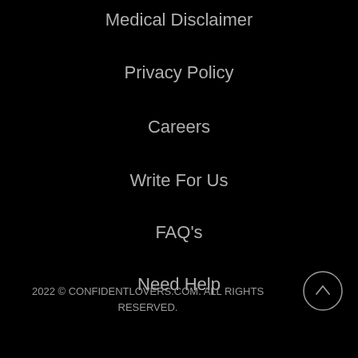Medical Disclaimer
Privacy Policy
Careers
Write For Us
FAQ's
Need Help
2022 © CONFIDENTLOVERS.COM. ALL RIGHTS RESERVED.